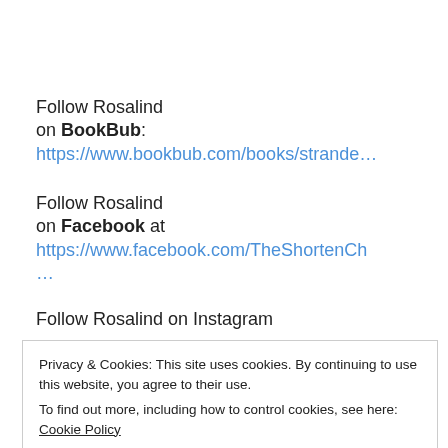Follow Rosalind on BookBub: https://www.bookbub.com/books/strande…
Follow Rosalind on Facebook at https://www.facebook.com/TheShortenCh…
Follow Rosalind on Instagram
Privacy & Cookies: This site uses cookies. By continuing to use this website, you agree to their use.
To find out more, including how to control cookies, see here: Cookie Policy
Close and accept